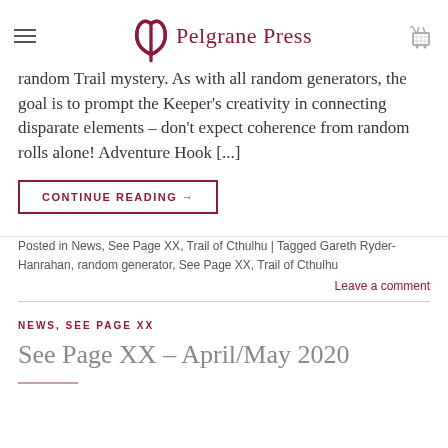Pelgrane Press
random Trail mystery. As with all random generators, the goal is to prompt the Keeper's creativity in connecting disparate elements – don't expect coherence from random rolls alone! Adventure Hook [...]
CONTINUE READING →
Posted in News, See Page XX, Trail of Cthulhu | Tagged Gareth Ryder-Hanrahan, random generator, See Page XX, Trail of Cthulhu
Leave a comment
NEWS, SEE PAGE XX
See Page XX – April/May 2020